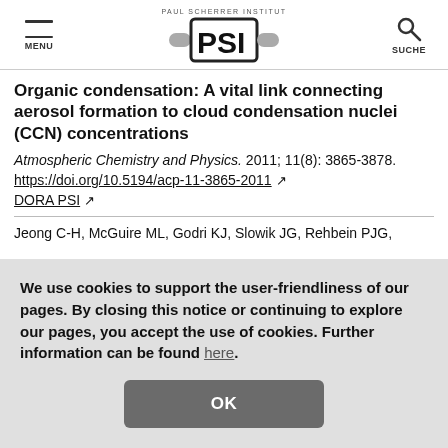MENU | PAUL SCHERRER INSTITUT PSI | SUCHE
Organic condensation: A vital link connecting aerosol formation to cloud condensation nuclei (CCN) concentrations
Atmospheric Chemistry and Physics. 2011; 11(8): 3865-3878.
https://doi.org/10.5194/acp-11-3865-2011
DORA PSI
Jeong C-H, McGuire ML, Godri KJ, Slowik JG, Rehbein PJG,
We use cookies to support the user-friendliness of our pages. By closing this notice or continuing to explore our pages, you accept the use of cookies. Further information can be found here.